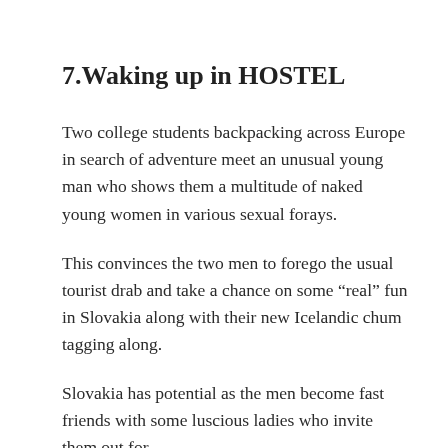7.Waking up in HOSTEL
Two college students backpacking across Europe in search of adventure meet an unusual young man who shows them a multitude of naked young women in various sexual forays.
This convinces the two men to forego the usual tourist drab and take a chance on some “real” fun in Slovakia along with their new Icelandic chum tagging along.
Slovakia has potential as the men become fast friends with some luscious ladies who invite them out for